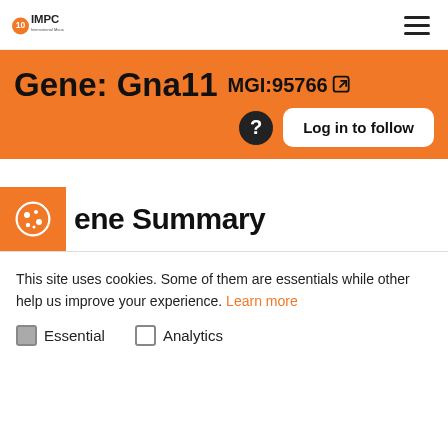IMPC — International Mouse Phenotyping Consortium logo and navigation
Gene: Gna11 MGI:95766
Log in to follow
Gene Summary
This site uses cookies. Some of them are essentials while other help us improve your experience. Learn more
Essential   Analytics